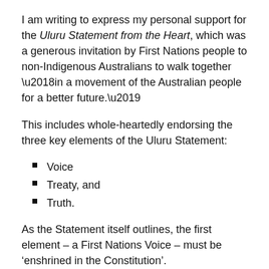I am writing to express my personal support for the Uluru Statement from the Heart, which was a generous invitation by First Nations people to non-Indigenous Australians to walk together ‘in a movement of the Australian people for a better future.’
This includes whole-heartedly endorsing the three key elements of the Uluru Statement:
Voice
Treaty, and
Truth.
As the Statement itself outlines, the first element – a First Nations Voice – must be ‘enshrined in the Constitution’.
Constitutional enshrinement is essential to ensure the independence of the Voice, and protect it against political